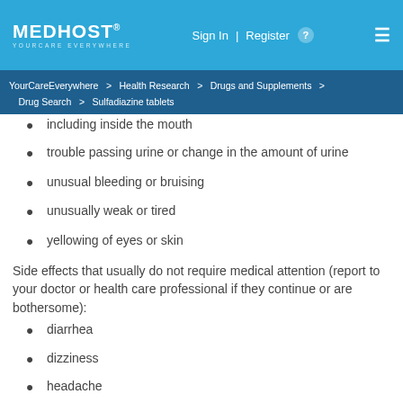MEDHOST YOURCARE EVERYWHERE | Sign In | Register | [menu]
YourCareEverywhere > Health Research > Drugs and Supplements > Drug Search > Sulfadiazine tablets
including inside the mouth
trouble passing urine or change in the amount of urine
unusual bleeding or bruising
unusually weak or tired
yellowing of eyes or skin
Side effects that usually do not require medical attention (report to your doctor or health care professional if they continue or are bothersome):
diarrhea
dizziness
headache